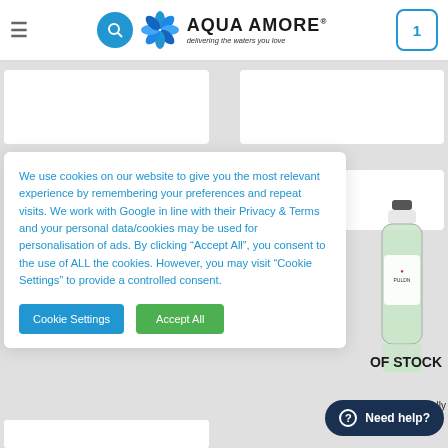[Figure (screenshot): Aqua Amore website header with hamburger menu, search button, logo with spinner graphic, tagline 'delivering the waters you love', and cart icon showing 1 item]
We use cookies on our website to give you the most relevant experience by remembering your preferences and repeat visits. We work with Google in line with their Privacy & Terms and your personal data/cookies may be used for personalisation of ads. By clicking "Accept All", you consent to the use of ALL the cookies. However, you may visit "Cookie Settings" to provide a controlled consent.
Cookie Settings
Accept All
OF STOCK
lgadas Naturally
x 250ml
Need help?